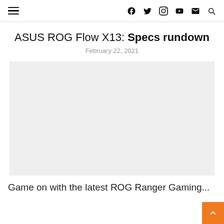≡ f y instagram youtube mail search
ASUS ROG Flow X13: Specs rundown
February 22, 2021
[Figure (photo): Light gray placeholder image for ASUS ROG Flow X13 article hero image]
Game on with the latest ROG Ranger Gaming...